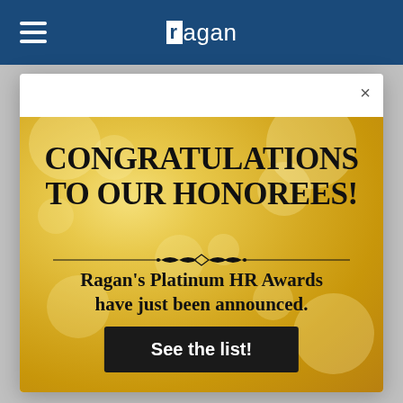ragan
[Figure (illustration): Modal popup with gold bokeh background. Large bold text reading CONGRATULATIONS TO OUR HONOREES! with a decorative divider, then body text reading Ragan's Platinum HR Awards have just been announced., and a dark button saying See the list!]